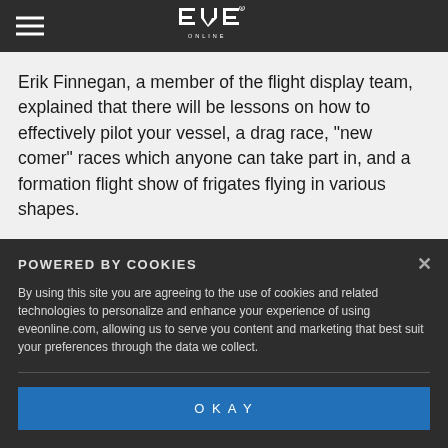EVE Online logo with hamburger menu
Erik Finnegan, a member of the flight display team, explained that there will be lessons on how to effectively pilot your vessel, a drag race, "new comer" races which anyone can take part in, and a formation flight show of frigates flying in various shapes.
POWERED BY COOKIES
By using this site you are agreeing to the use of cookies and related technologies to personalize and enhance your experience of using eveonline.com, allowing us to serve you content and marketing that best suit your preferences through the data we collect.
OKAY